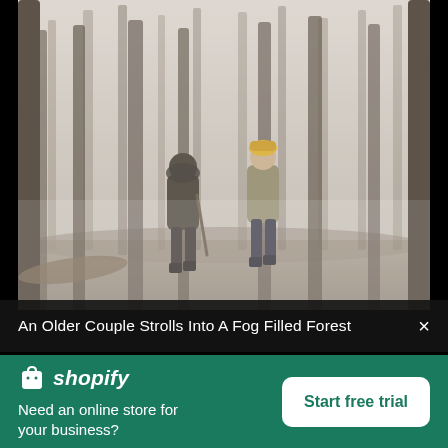[Figure (photo): Two people walking away into a foggy forest with bare trees. One person wears a dark jacket, the other a tan jacket and yellow hat.]
An Older Couple Strolls Into A Fog Filled Forest
[Figure (logo): Shopify logo: white shopping bag icon with 'shopify' text in italic white]
Need an online store for your business?
Start free trial